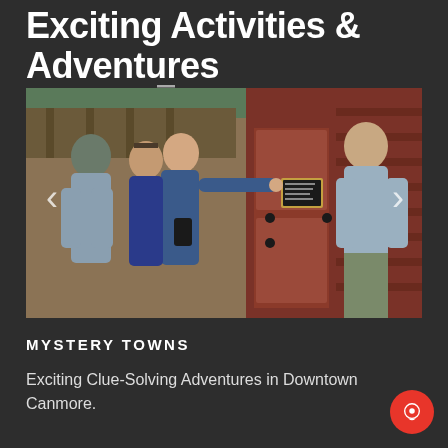Exciting Activities & Adventures VIEW FULL LIST
[Figure (photo): Group of people standing outside a red-painted wooden building door, one person pointing at a sign on the door, others looking on]
MYSTERY TOWNS
Exciting Clue-Solving Adventures in Downtown Canmore.